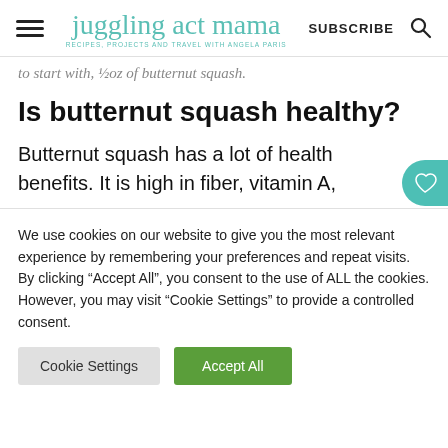juggling act mama — RECIPES, PROJECTS AND TRAVEL WITH ANGELA PARIS — SUBSCRIBE
to start with, ½oz of butternut squash.
Is butternut squash healthy?
Butternut squash has a lot of health benefits. It is high in fiber, vitamin A,
We use cookies on our website to give you the most relevant experience by remembering your preferences and repeat visits. By clicking "Accept All", you consent to the use of ALL the cookies. However, you may visit "Cookie Settings" to provide a controlled consent.